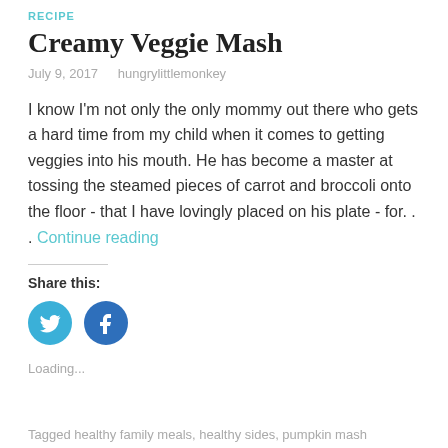RECIPE
Creamy Veggie Mash
July 9, 2017   hungrylittlemonkey
I know I'm not only the only mommy out there who gets a hard time from my child when it comes to getting veggies into his mouth. He has become a master at tossing the steamed pieces of carrot and broccoli onto the floor  - that I have lovingly placed on his plate - for. . . Continue reading
Share this:
[Figure (illustration): Twitter and Facebook circular social share buttons]
Loading...
Tagged healthy family meals, healthy sides, pumpkin mash